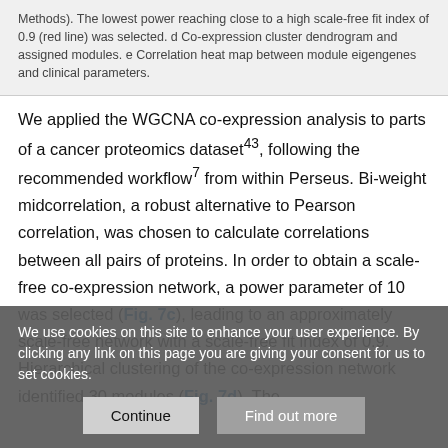Methods). The lowest power reaching close to a high scale-free fit index of 0.9 (red line) was selected. d Co-expression cluster dendrogram and assigned modules. e Correlation heat map between module eigengenes and clinical parameters.
We applied the WGCNA co-expression analysis to parts of a cancer proteomics dataset43, following the recommended workflow7 from within Perseus. Bi-weight midcorrelation, a robust alternative to Pearson correlation, was chosen to calculate correlations between all pairs of proteins. In order to obtain a scale-free co-expression network, a power parameter of 10 was selected (Fig. 7c), leading to an approximately scale-free network with a scale-free fit index of 0.9. Hierarchical clustering of the co-expression network identified 30 modules (Fig. 7d). The
We use cookies on this site to enhance your user experience. By clicking any link on this page you are giving your consent for us to set cookies.